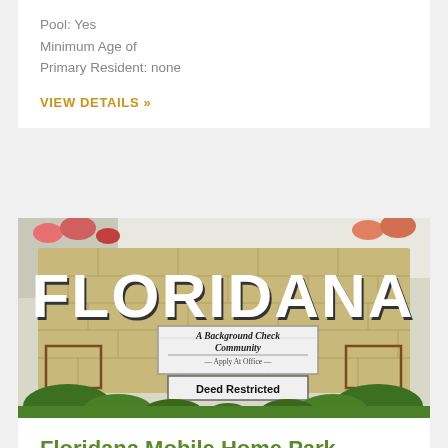Pool: Yes
Minimum Age of
Primary Resident: none
VIEW DETAILS »
[Figure (photo): Entrance sign for Floridana community. Large brick/stone wall with white letters spelling FLORIDANA. Below are two white signs reading 'A Background Check Community – Apply At Office –' and 'Deed Restricted'. Green shrubs at the base.]
Floridana Mobile Home Park